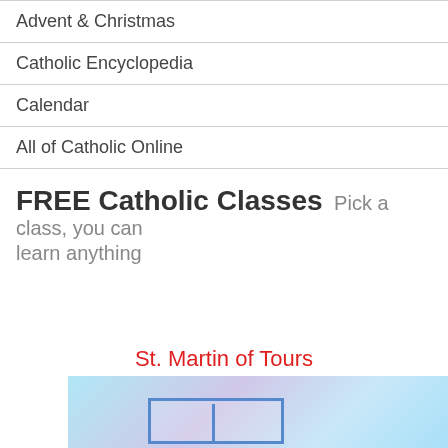Advent & Christmas
Catholic Encyclopedia
Calendar
All of Catholic Online
FREE Catholic Classes Pick a class, you can learn anything
St. Martin of Tours
[Figure (illustration): Light blue and purple gradient background image with a blue outlined box, partially visible at the bottom of the page.]